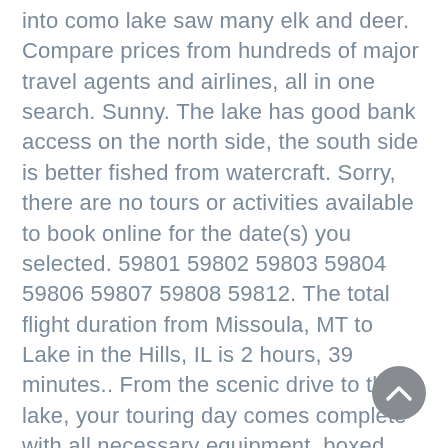into como lake saw many elk and deer. Compare prices from hundreds of major travel agents and airlines, all in one search. Sunny. The lake has good bank access on the north side, the south side is better fished from watercraft. Sorry, there are no tours or activities available to book online for the date(s) you selected. 59801 59802 59803 59804 59806 59807 59808 59812. The total flight duration from Missoula, MT to Lake in the Hills, IL is 2 hours, 39 minutes.. From the scenic drive to the lake, your touring day comes complete with all necessary equipment, boxed lunch, bottled water/refills, optional kayak paddling lesson (included), entry fee to recreation area, and optional meal/beverage stop on the ride back to Missoula. Find the travel option that best suits you. Three sites are handicap accessible, and there are 4 handicap accessible … Enjoy over 30 miles of groomed trails for cross country skiers and snowshoers. Duration 16h 25m When Friday, Saturday and Sunday Estimated price 280€ … It is set back on the west side of the highway, and besides the cabin sites, there is a...